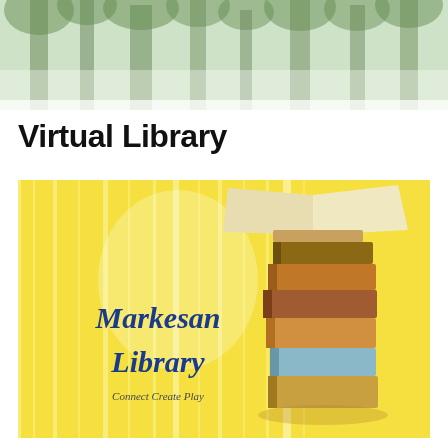[Figure (illustration): Green-tinted forest/trees background header image with misty trees]
Virtual Library
[Figure (illustration): Yellow background library promotional image with a stack of books on the right, an open book on top of the stack, and blue text reading 'Markesan Library' with subtitle 'Connect Create Play']